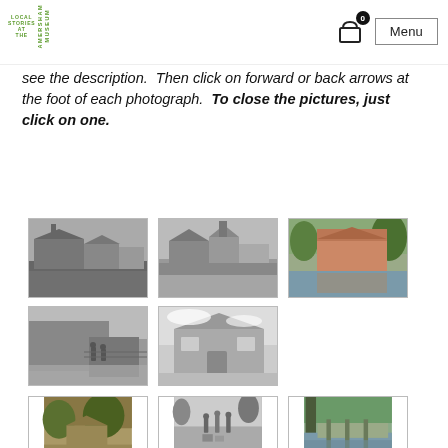LOCAL STORIES AT THE AMERSHAM MUSEUM | Menu
see the description.  Then click on forward or back arrows at the foot of each photograph.  To close the pictures, just click on one.
[Figure (photo): Grid of historical black and white and sepia photographs of a mill and water scenes]
[Figure (photo): Second historical photo of mill buildings]
[Figure (photo): Third historical photo colourised showing mill by river]
[Figure (photo): Fourth photo of mill sluice with people]
[Figure (photo): Fifth photo of mill building]
[Figure (photo): Sixth partial photo of garden/mill scene]
[Figure (photo): Seventh partial photo of outdoor scene with people]
[Figure (photo): Eighth partial photo of water mill scene]